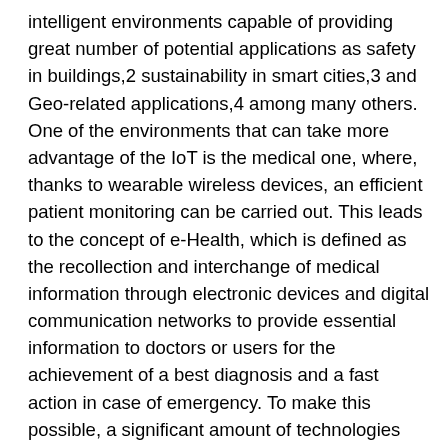intelligent environments capable of providing great number of potential applications as safety in buildings,2 sustainability in smart cities,3 and Geo-related applications,4 among many others. One of the environments that can take more advantage of the IoT is the medical one, where, thanks to wearable wireless devices, an efficient patient monitoring can be carried out. This leads to the concept of e-Health, which is defined as the recollection and interchange of medical information through electronic devices and digital communication networks to provide essential information to doctors or users for the achievement of a best diagnosis and a fast action in case of emergency. To make this possible, a significant amount of technologies must work together to offer a transparent, or at least the less obstructive possible service for the end user. This ease in usability must be reached in different levels, starting from the development of small-scale devices, enabling straightforward integration with user apparel. In this sense, wireless technologies which enable freedom of movements to users are essential. Taking this into